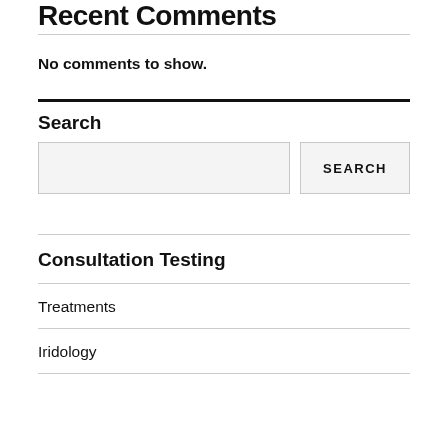Recent Comments
No comments to show.
Search
Consultation Testing
Treatments
Iridology